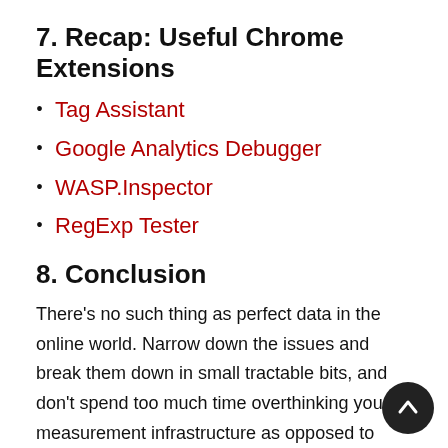7. Recap: Useful Chrome Extensions
Tag Assistant
Google Analytics Debugger
WASP.Inspector
RegExp Tester
8. Conclusion
There's no such thing as perfect data in the online world. Narrow down the issues and break them down in small tractable bits, and don't spend too much time overthinking your measurement infrastructure as opposed to analyzing, and more importantly acting on the data. If you can be 95% confident in the direction and order of magnitude of your data, the